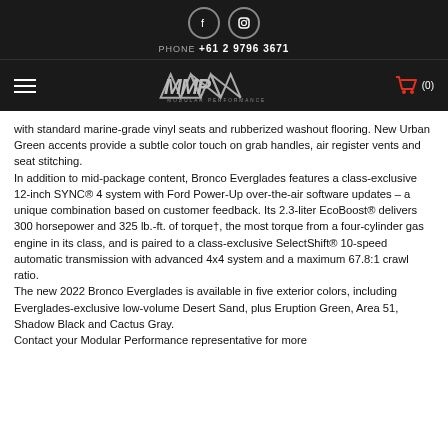PHONE +61 2 9796 3671
with standard marine-grade vinyl seats and rubberized washout flooring. New Urban Green accents provide a subtle color touch on grab handles, air register vents and seat stitching.
In addition to mid-package content, Bronco Everglades features a class-exclusive 12-inch SYNC® 4 system with Ford Power-Up over-the-air software updates – a unique combination based on customer feedback. Its 2.3-liter EcoBoost® delivers 300 horsepower and 325 lb.-ft. of torque†, the most torque from a four-cylinder gas engine in its class, and is paired to a class-exclusive SelectShift® 10-speed automatic transmission with advanced 4x4 system and a maximum 67.8:1 crawl ratio.
The new 2022 Bronco Everglades is available in five exterior colors, including Everglades-exclusive low-volume Desert Sand, plus Eruption Green, Area 51, Shadow Black and Cactus Gray.
Contact your Modular Performance representative for more